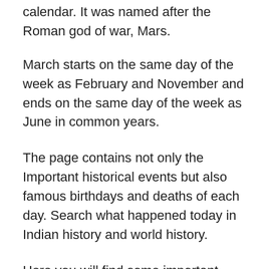calendar. It was named after the Roman god of war, Mars.
March starts on the same day of the week as February and November and ends on the same day of the week as June in common years.
The page contains not only the Important historical events but also famous birthdays and deaths of each day. Search what happened today in Indian history and world history.
Here you will find some important events that happened today in Indian and world History on March 04. Read on to know more about this day